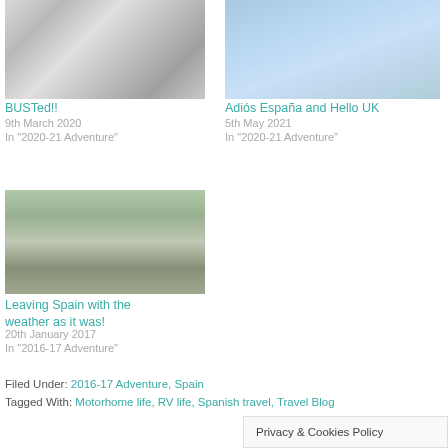[Figure (photo): Black and white photo of a bus or motorhome near a building with glass panels]
BUSTed!!
9th March 2020
In "2020-21 Adventure"
[Figure (photo): Person standing on a boat in a harbor with a tall building in the background]
Adiós España and Hello UK
5th May 2021
In "2020-21 Adventure"
[Figure (photo): Road with trees and snow on the sides, car visible on the left]
Leaving Spain with the weather as it was!
20th January 2017
In "2016-17 Adventure"
Filed Under: 2016-17 Adventure, Spain
Tagged With: Motorhome life, RV life, Spanish travel, Travel Blog
Privacy & Cookies Policy